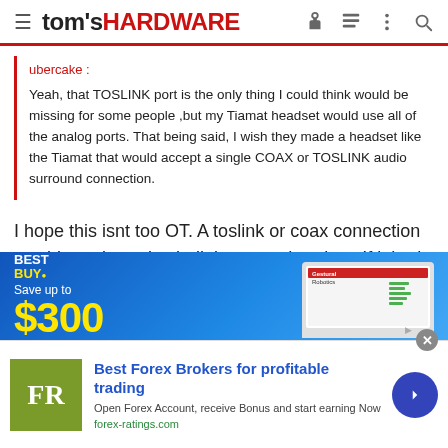tom's HARDWARE
ubercake :
Yeah, that TOSLINK port is the only thing I could think would be missing for some people ,but my Tiamat headset would use all of the analog ports. That being said, I wish they made a headset like the Tiamat that would accept a single COAX or TOSLINK audio surround connection.
I hope this isnt too OT. A toslink or coax connection would require a dac built into your headset. If it had a built-in dac it could just use
[Figure (screenshot): Best Buy advertisement banner showing 'Save up to $300' with a laptop image displaying Gestural Robotics presentation]
[Figure (screenshot): Forex Ratings advertisement: 'Best Forex Brokers for profitable trading. Open Forex Account, receive Bonus and start earning Now. forex-ratings.com']